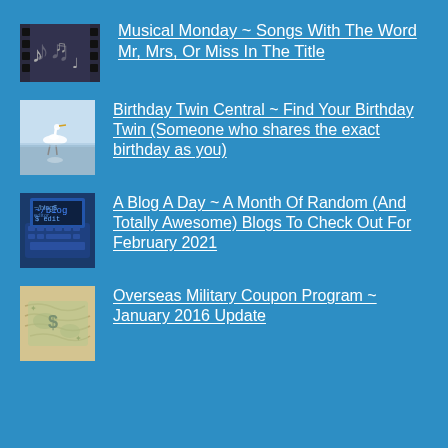Musical Monday ~ Songs With The Word Mr, Mrs, Or Miss In The Title
Birthday Twin Central ~ Find Your Birthday Twin (Someone who shares the exact birthday as you)
A Blog A Day ~ A Month Of Random (And Totally Awesome) Blogs To Check Out For February 2021
Overseas Military Coupon Program ~ January 2016 Update